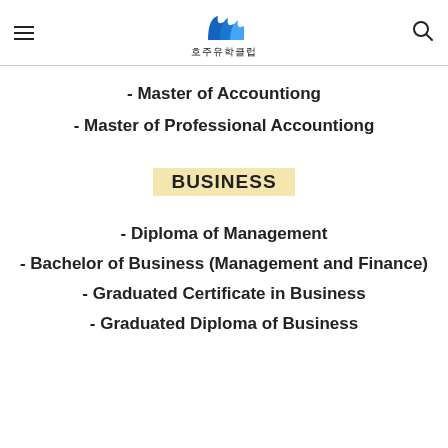호주유학클럽
- Master of Accountiong
- Master of Professional Accountiong
BUSINESS
- Diploma of Management
- Bachelor of Business (Management and Finance)
- Graduated Certificate in Business
- Graduated Diploma of Business